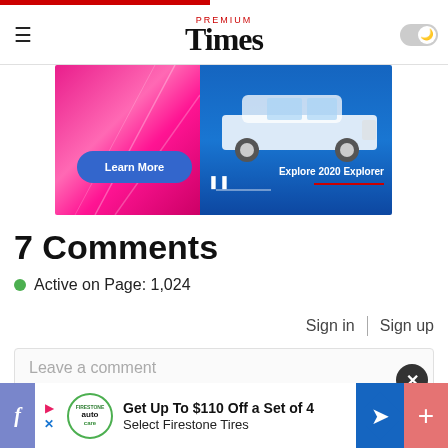PREMIUM Times
[Figure (screenshot): Advertisement banner showing a Ford Explorer 2020 with 'Learn More' button on pink/blue background]
7 Comments
Active on Page: 1,024
Sign in | Sign up
Leave a comment
Sort by: Recent
[Figure (screenshot): Bottom advertisement bar: Get Up To $110 Off a Set of 4 Select Firestone Tires]